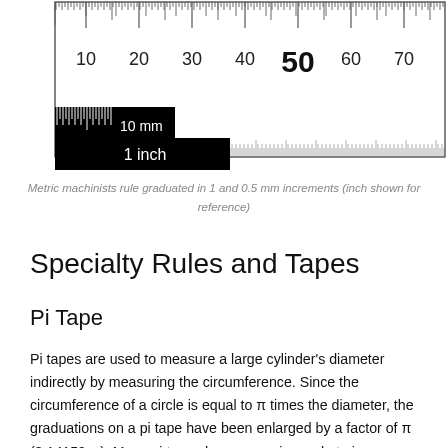[Figure (illustration): Metric machinists rule showing graduations numbered 10, 20, 30, 40, 50, 60, 70 with fine 1mm and 0.5mm tick marks. Bottom inset shows scale references: 10 mm and 1 inch black bars.]
Metric machinists rule graduated in 1 and 0.5 mm increments (inch shown for reference)
Specialty Rules and Tapes
Pi Tape
Pi tapes are used to measure a large cylinder's diameter indirectly by measuring the circumference. Since the circumference of a circle is equal to π times the diameter, the graduations on a pi tape have been enlarged by a factor of π (3.14159…). Many pi tapes have a vernier scale to improve